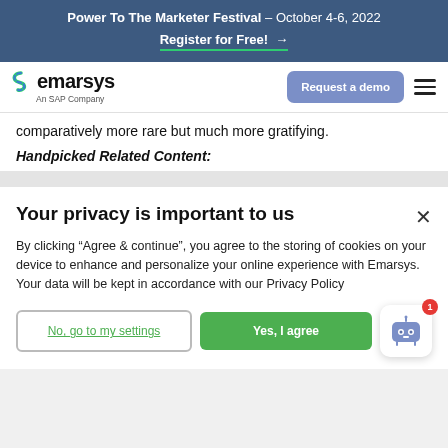Power To The Marketer Festival – October 4-6, 2022
Register for Free! →
[Figure (logo): Emarsys logo with green S-shaped icon and text 'emarsys An SAP Company']
comparatively more rare but much more gratifying.
Handpicked Related Content:
Your privacy is important to us
By clicking "Agree & continue", you agree to the storing of cookies on your device to enhance and personalize your online experience with Emarsys. Your data will be kept in accordance with our Privacy Policy
No, go to my settings | Yes, I agree